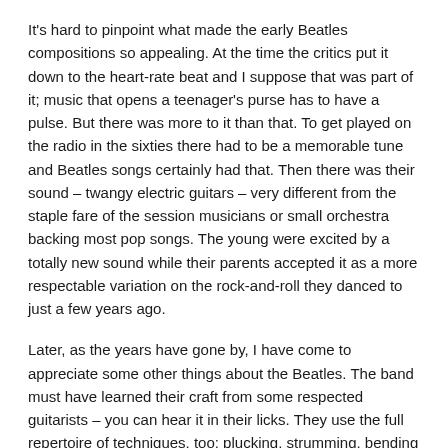It's hard to pinpoint what made the early Beatles compositions so appealing. At the time the critics put it down to the heart-rate beat and I suppose that was part of it; music that opens a teenager's purse has to have a pulse. But there was more to it than that. To get played on the radio in the sixties there had to be a memorable tune and Beatles songs certainly had that. Then there was their sound – twangy electric guitars – very different from the staple fare of the session musicians or small orchestra backing most pop songs. The young were excited by a totally new sound while their parents accepted it as a more respectable variation on the rock-and-roll they danced to just a few years ago.
Later, as the years have gone by, I have come to appreciate some other things about the Beatles. The band must have learned their craft from some respected guitarists – you can hear it in their licks. They use the full repertoire of techniques, too: plucking, strumming, bending notes and stroking broken chords. Although based on conventional ideas there's plenty of originality in Beatles songs, particularly in their harmonies. (The last 'yeah' at the end of She Loves You adds a distinctive major sixth, which isn't in the rule book.)
In the final analysis, The Beatles recorded a lot of mediocre and dead duck tracks, especially later on, but many more of their songs still sound fresh